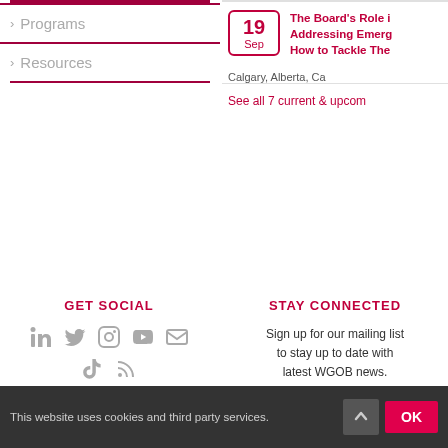> Programs
> Resources
19 Sep — The Board's Role in Addressing Emerging... How to Tackle The... Calgary, Alberta, Ca...
See all 7 current & upcoming...
GET SOCIAL
[Figure (infographic): Social media icons: LinkedIn, Twitter, Instagram, YouTube, Email, TikTok, RSS — all in grey]
STAY CONNECTED
Sign up for our mailing list to stay up to date with latest WGOB news.
Powered by GlueUp. You may
This website uses cookies and third party services.
OK